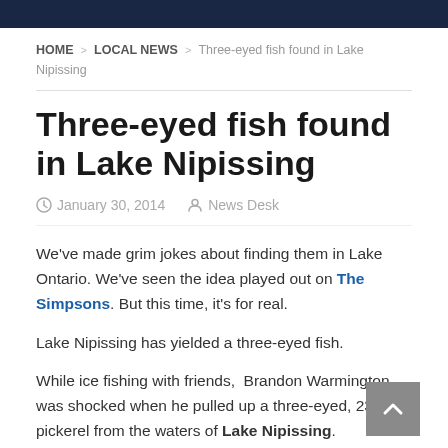HOME > LOCAL NEWS > Three-eyed fish found in Lake Nipissing
Three-eyed fish found in Lake Nipissing
January 30, 2014   News Desk
We've made grim jokes about finding them in Lake Ontario. We've seen the idea played out on The Simpsons. But this time, it's for real.
Lake Nipissing has yielded a three-eyed fish.
While ice fishing with friends,  Brandon Warmington was shocked when he pulled up a three-eyed, 23-inch pickerel from the waters of Lake Nipissing.